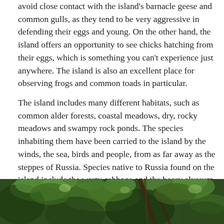avoid close contact with the island's barnacle geese and common gulls, as they tend to be very aggressive in defending their eggs and young. On the other hand, the island offers an opportunity to see chicks hatching from their eggs, which is something you can't experience just anywhere. The island is also an excellent place for observing frogs and common toads in particular.
The island includes many different habitats, such as common alder forests, coastal meadows, dry, rocky meadows and swampy rock ponds. The species inhabiting them have been carried to the island by the winds, the sea, birds and people, from as far away as the steppes of Russia. Species native to Russia found on the island include the warty cabbage and the hoary alyssum.
There are four conservation areas on the island of Harakka, one of which is protected due to its bird species, while the other three are protected due to their plant life. The protected coastal meadow is home to the rare restharrow.
[Figure (photo): Photograph of green leafy vegetation, showing dense foliage with tree branches visible, taken outdoors in natural light.]